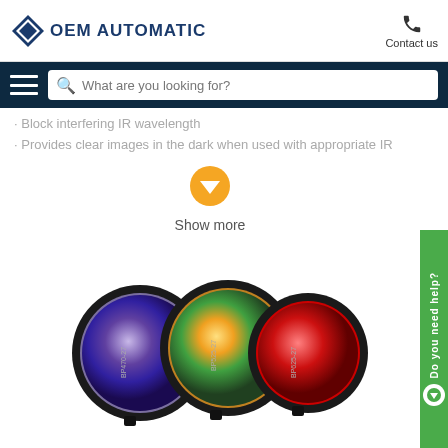[Figure (logo): OEM Automatic logo with blue diamond shape and company name]
Contact us
[Figure (screenshot): Navigation bar with hamburger menu and search box reading 'What are you looking for?']
Block interfering IR wavelength
Provides clear images in the dark when used with appropriate IR
[Figure (infographic): Orange down arrow button]
Show more
[Figure (photo): Three optical bandpass filters (BP470-27, BP525-27, BP625-27) — one blue/violet, one green/orange, one red — in black circular mounts]